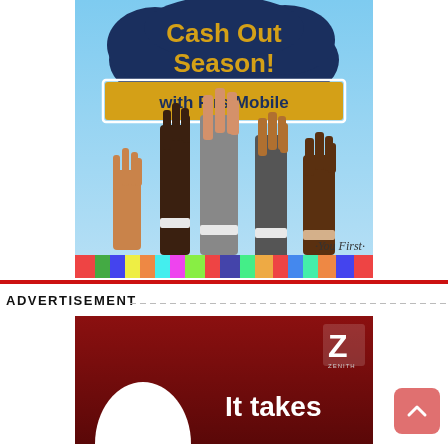[Figure (illustration): FirstBank 'Cash Out Season! with FirstMobile' advertisement banner showing diverse hands raised in the air with 'You First' tagline at bottom right. Blue background with colorful crowd strip at bottom.]
ADVERTISEMENT
[Figure (illustration): Zenith Bank advertisement banner with dark red background showing a white egg, 'It takes' text in white bold font, and Zenith logo (Z) in upper right corner.]